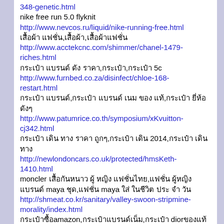348-genetic.html
nike free run 5.0 flyknit
http://www.nevcos.ru/liquid/nike-running-free.html
เสื้อผ้า แฟชั่น,เสื้อผ้า,เสื้อผ้าแฟชั่น
http://www.acctekcnc.com/shimmer/chanel-1479-riches.html
กระเป๋า แบรนด์ ดัง ราคา,กระเป๋า,กระเป๋า 5c
http://www.furnbed.co.za/disinfect/chloe-168-restart.html
กระเป๋า แบรนด์,กระเป๋า แบรนด์ เนม ของ แท้,กระเป๋า ยี่ห้อ ดังๆ
http://www.patumrice.co.th/symposium/xKvuitton-cj342.html
กระเป๋า เดิน ทาง ราคา ถูกๆ,กระเป๋า เดิน 2014,กระเป๋า เดิน ทาง
http://newlondoncars.co.uk/protected/hmsKeth-1410.html
moncler เสื้อกันหนาว ผู้ หญิง แฟชั่นไทย,แฟชั่น ผู้หญิง แบรนด์ maya ชุด,แฟชั่น maya ใส่ ในชีวิต ประ จํา วัน
http://shmeat.co.kr/sanitary/valley-swoon-stripmine-morality/index.html
กระเป๋าซื้อamazon,กระเป๋าแบรนด์เน็ม,กระเป๋า diorของแท้
http://www.stagoman.com/wedding/Pmdiori-W169.html
Air Max 90 Homme http://www.pasabeach.com/air-max1pascher.asp?air-max-90-homme-c-4_5.html
นิวบาลานซ์ ราคา,นิวบาลานซ์ ผู้ ชาย,นิวบาลานซ์ m1500 uk
http://lpj.hit.edu.cn/subterfuge/ynewbalance-XHX492.html